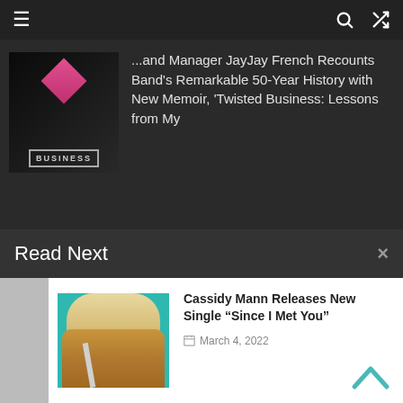Navigation bar with hamburger menu, search, and shuffle icons
...and Manager JayJay French Recounts Band's Remarkable 50-Year History with New Memoir, 'Twisted Business: Lessons from My
Read Next
[Figure (photo): Cassidy Mann - woman in tan jacket against teal background]
Cassidy Mann Releases New Single “Since I Met You”
March 4, 2022
[Figure (photo): Man performing at microphone on dark stage]
The Beach Boys Bring A Reason For the Season
November 16, 2018